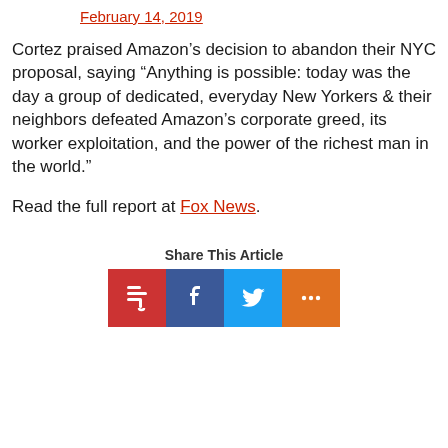February 14, 2019
Cortez praised Amazon’s decision to abandon their NYC proposal, saying “Anything is possible: today was the day a group of dedicated, everyday New Yorkers & their neighbors defeated Amazon’s corporate greed, its worker exploitation, and the power of the richest man in the world.”
Read the full report at Fox News.
Share This Article